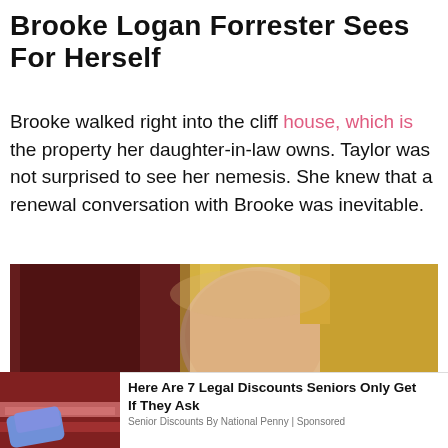Brooke Logan Forrester Sees For Herself
Brooke walked right into the cliff house, which is the property her daughter-in-law owns. Taylor was not surprised to see her nemesis. She knew that a renewal conversation with Brooke was inevitable.
[Figure (photo): Close-up photo of a blonde woman (Brooke Logan character from soap opera) with long straight blonde hair, looking to the side, with a dark red/brown background]
[Figure (photo): Advertisement thumbnail showing hands with purple gloves handling raw meat at a deli/butcher counter]
Here Are 7 Legal Discounts Seniors Only Get If They Ask
Senior Discounts By National Penny | Sponsored